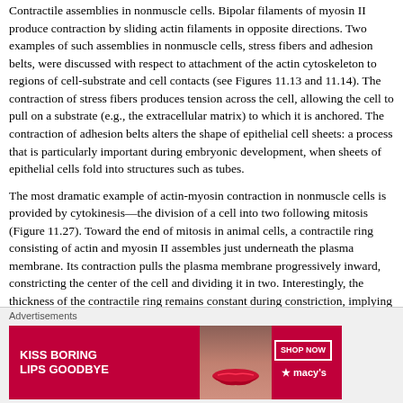Contractile assemblies in nonmuscle cells. Bipolar filaments of myosin II produce contraction by sliding actin filaments in opposite directions. Two examples of such assemblies in nonmuscle cells, stress fibers and adhesion belts, were discussed with respect to attachment of the actin cytoskeleton to regions of cell-substrate and cell contacts (see Figures 11.13 and 11.14). The contraction of stress fibers produces tension across the cell, allowing the cell to pull on a substrate (e.g., the extracellular matrix) to which it is anchored. The contraction of adhesion belts alters the shape of epithelial cell sheets: a process that is particularly important during embryonic development, when sheets of epithelial cells fold into structures such as tubes.
The most dramatic example of actin-myosin contraction in nonmuscle cells is provided by cytokinesis—the division of a cell into two following mitosis (Figure 11.27). Toward the end of mitosis in animal cells, a contractile ring consisting of actin and myosin II assembles just underneath the plasma membrane. Its contraction pulls the plasma membrane progressively inward, constricting the center of the cell and dividing it in two. Interestingly, the thickness of the contractile ring remains constant during constriction, implying that actin filaments disassemble as contraction proceeds. The ring then disperses completely following cell division.
Figure 11.27
[Figure (other): Advertisement banner: 'KISS BORING LIPS GOODBYE' with Macy's branding and SHOP NOW button]